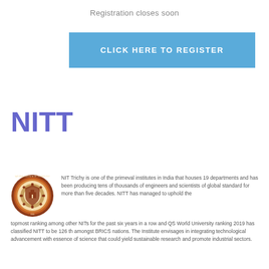Registration closes soon
CLICK HERE TO REGISTER
NITT
[Figure (logo): NIT Trichy circular institutional seal/logo with brown border]
NIT Trichy is one of the primeval institutes in India that houses 19 departments and has been producing tens of thousands of engineers and scientists of global standard for more than five decades. NITT has managed to uphold the topmost ranking among other NITs for the past six years in a row and QS World University ranking 2019 has classified NITT to be 126 th amongst BRICS nations. The Institute envisages in integrating technological advancement with essence of science that could yield sustainable research and promote industrial sectors.